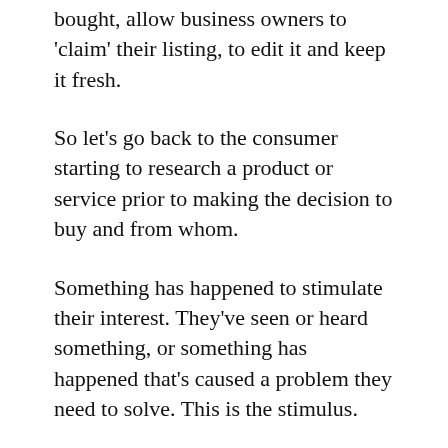bought, allow business owners to 'claim' their listing, to edit it and keep it fresh.
So let's go back to the consumer starting to research a product or service prior to making the decision to buy and from whom.
Something has happened to stimulate their interest. They've seen or heard something, or something has happened that's caused a problem they need to solve. This is the stimulus.
The next step for them is to start their research. Even just a year ago they'd go to one or two places on line to do research. Now it can